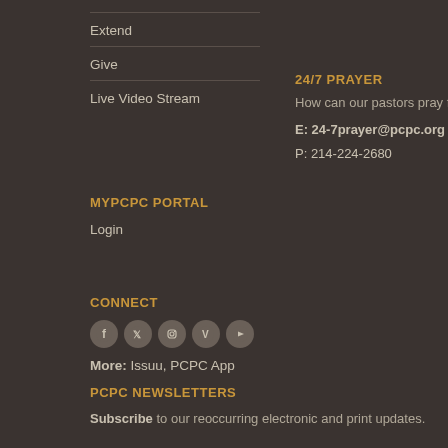Extend
Give
Live Video Stream
24/7 PRAYER
How can our pastors pray for you?
E: 24-7prayer@pcpc.org
P: 214-224-2680
MYPCPC PORTAL
Login
CONNECT
[Figure (other): Social media icons: Facebook, Twitter, Instagram, Vimeo, YouTube]
More: Issuu, PCPC App
PCPC NEWSLETTERS
Subscribe to our reoccurring electronic and print updates.